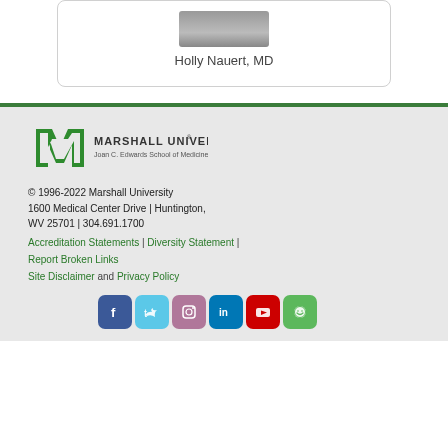Holly Nauert, MD
[Figure (logo): Marshall University Joan C. Edwards School of Medicine logo with green M and text]
© 1996-2022 Marshall University
1600 Medical Center Drive | Huntington, WV 25701 | 304.691.1700
Accreditation Statements | Diversity Statement | Report Broken Links
Site Disclaimer and Privacy Policy
[Figure (infographic): Social media icons: Facebook, Twitter, Instagram, LinkedIn, YouTube, Google+]